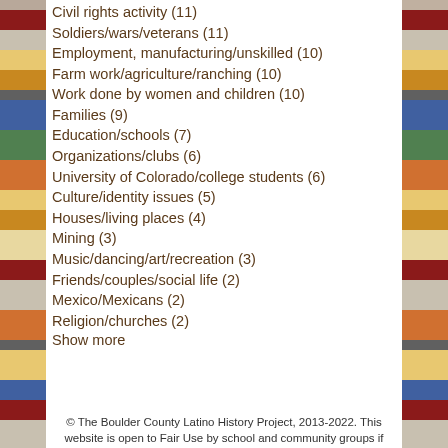Civil rights activity (11)
Soldiers/wars/veterans (11)
Employment, manufacturing/unskilled (10)
Farm work/agriculture/ranching (10)
Work done by women and children (10)
Families (9)
Education/schools (7)
Organizations/clubs (6)
University of Colorado/college students (6)
Culture/identity issues (5)
Houses/living places (4)
Mining (3)
Music/dancing/art/recreation (3)
Friends/couples/social life (2)
Mexico/Mexicans (2)
Religion/churches (2)
Show more
© The Boulder County Latino History Project, 2013-2022. This website is open to Fair Use by school and community groups if